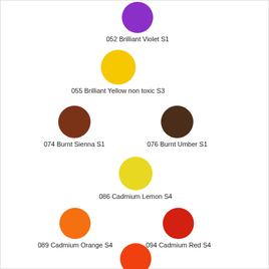[Figure (illustration): Color swatch catalog showing 8 paint colors as filled circles with labels: 052 Brilliant Violet S1, 055 Brilliant Yellow non toxic S3, 074 Burnt Sienna S1, 076 Burnt Umber S1, 086 Cadmium Lemon S4, 089 Cadmium Orange S4, 094 Cadmium Red S4, 106 Cadmium Scarlet S4]